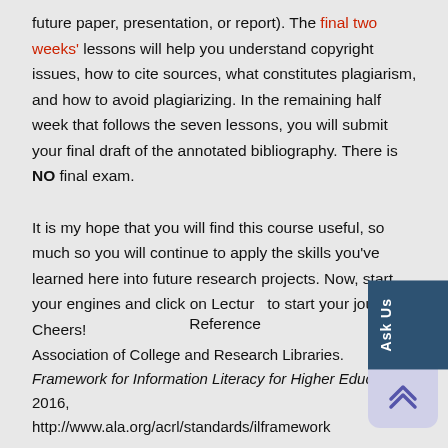future paper, presentation, or report). The final two weeks' lessons will help you understand copyright issues, how to cite sources, what constitutes plagiarism, and how to avoid plagiarizing. In the remaining half week that follows the seven lessons, you will submit your final draft of the annotated bibliography. There is NO final exam.
It is my hope that you will find this course useful, so much so you will continue to apply the skills you've learned here into future research projects. Now, start your engines and click on Lecture to start your journey. Cheers!
Reference
Association of College and Research Libraries. Framework for Information Literacy for Higher Education, 2016, http://www.ala.org/acrl/standards/ilframework